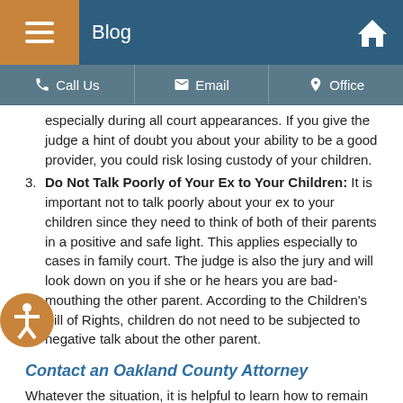Blog
Call Us  Email  Office
especially during all court appearances. If you give the judge a hint of doubt you about your ability to be a good provider, you could risk losing custody of your children.
Do Not Talk Poorly of Your Ex to Your Children: It is important not to talk poorly about your ex to your children since they need to think of both of their parents in a positive and safe light. This applies especially to cases in family court. The judge is also the jury and will look down on you if she or he hears you are bad-mouthing the other parent. According to the Children's Bill of Rights, children do not need to be subjected to negative talk about the other parent.
Contact an Oakland County Attorney
Whatever the situation, it is helpful to learn how to remain calm and collected. Besides a clear mental state, you also need qualified legal help. If you are experiencing a divorce, you need the best representation to help you reach a settlement or argue your case in court. Our reputable Oakland County divorce lawyers at Elkouri